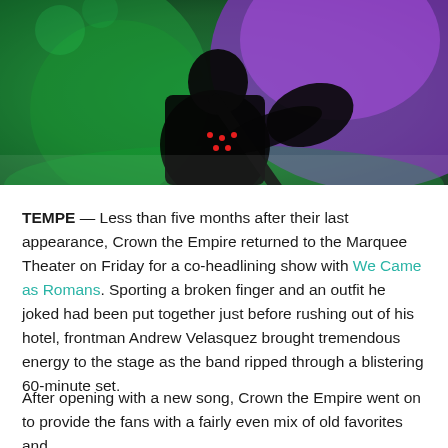[Figure (photo): Concert photo of a guitarist performing on stage, lit with green and purple stage lighting against a dark background. The performer is wearing a dark outfit and holding an electric guitar.]
TEMPE — Less than five months after their last appearance, Crown the Empire returned to the Marquee Theater on Friday for a co-headlining show with We Came as Romans. Sporting a broken finger and an outfit he joked had been put together just before rushing out of his hotel, frontman Andrew Velasquez brought tremendous energy to the stage as the band ripped through a blistering 60-minute set.
After opening with a new song, Crown the Empire went on to provide the fans with a fairly even mix of old favorites and